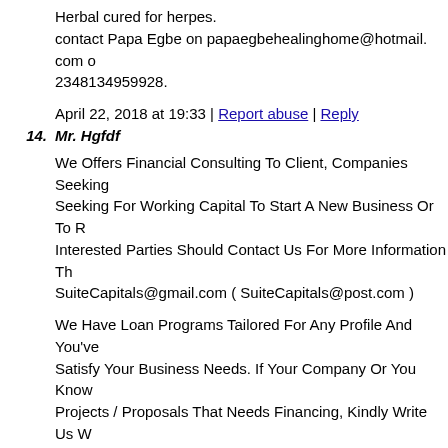Herbal cured for herpes.
contact Papa Egbe on papaegbehealinghome@hotmail. com o
2348134959928.
April 22, 2018 at 19:33 | Report abuse | Reply
14. Mr. Hgfdf
We Offers Financial Consulting To Client, Companies Seeking Seeking For Working Capital To Start A New Business Or To R Interested Parties Should Contact Us For More Information Th SuiteCapitals@gmail.com ( SuiteCapitals@post.com )
We Have Loan Programs Tailored For Any Profile And You've Satisfy Your Business Needs. If Your Company Or You Know Projects / Proposals That Needs Financing, Kindly Write Us W Please, Contact Us For More Information: SuiteCapitals@gma SuiteCapitals@post.com )
You Will Hear From Us. Well Nice To Meet You And I look fo Acquaintance. Interested Parties Should Contact Us For More mail: SuiteCapitals@gmail.com ( SuiteCapitals@post.com )
Do You Need A Loan To Consolidate Your Debt At 1.0%? Or A Loans etc. Interested Parties Should Contact Us For More Info SuiteCapitals@gmail.com ( SuiteCapitals@post.com )